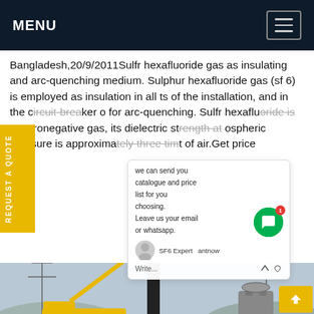MENU
Bangladesh,20/9/2011Sulfr hexafluoride gas as insulating and arc-quenching medium. Sulphur hexafluoride gas (sf 6) is employed as insulation in all ts of the installation, and in the circuit-breaker o for arc-quenching. Sulfr hexafluoride is an ctronegative gas, its dielectric strength at ospheric pressure is approximately three times t of air.Get price
REQUEST A QUOTE
we can send you catalogue and price list for you choosing.
Leave us your email or whatsapp.
SF6 Expert  antnow
Write
[Figure (photo): Electrical substation with high-voltage equipment, power lines, transformers, and a yellow crane truck in the foreground]